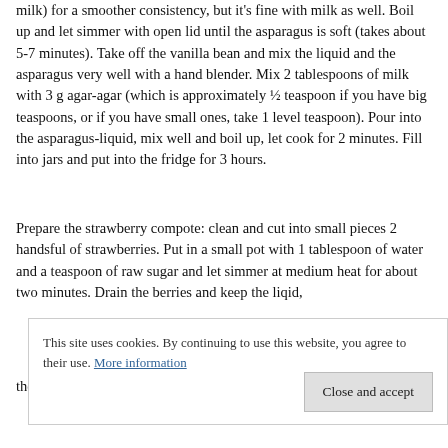milk) for a smoother consistency, but it's fine with milk as well. Boil up and let simmer with open lid until the asparagus is soft (takes about 5-7 minutes). Take off the vanilla bean and mix the liquid and the asparagus very well with a hand blender. Mix 2 tablespoons of milk with 3 g agar-agar (which is approximately ½ teaspoon if you have big teaspoons, or if you have small ones, take 1 level teaspoon). Pour into the asparagus-liquid, mix well and boil up, let cook for 2 minutes. Fill into jars and put into the fridge for 3 hours.
Prepare the strawberry compote: clean and cut into small pieces 2 handsful of strawberries. Put in a small pot with 1 tablespoon of water and a teaspoon of raw sugar and let simmer at medium heat for about two minutes. Drain the berries and keep the liqid, the compote on top.
This site uses cookies. By continuing to use this website, you agree to their use. More information